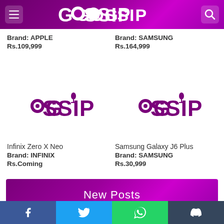GOSSIP
Brand: APPLE
Rs.109,999
Brand: SAMSUNG
Rs.164,999
[Figure (logo): Gossip logo (purple text with microphone) - left product placeholder]
Infinix Zero X Neo
Brand: INFINIX
Rs.Coming
[Figure (logo): Gossip logo (purple text with microphone) - right product placeholder]
Samsung Galaxy J6 Plus
Brand: SAMSUNG
Rs.30,999
New Posts
Every 8 Months, I Get Beauty Enhancement